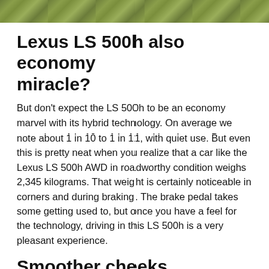[Figure (photo): Top banner image showing green grass or outdoor scene, cropped strip at top of page]
Lexus LS 500h also economy miracle?
But don't expect the LS 500h to be an economy marvel with its hybrid technology. On average we note about 1 in 10 to 1 in 11, with quiet use. But even this is pretty neat when you realize that a car like the Lexus LS 500h AWD in roadworthy condition weighs 2,345 kilograms. That weight is certainly noticeable in corners and during braking. The brake pedal takes some getting used to, but once you have a feel for the technology, driving in this LS 500h is a very pleasant experience.
Smoother cheeks
That's actually because of… well: everything! You can tell that Lexus has pulled out all the stops to provide the most comfortable driving experience